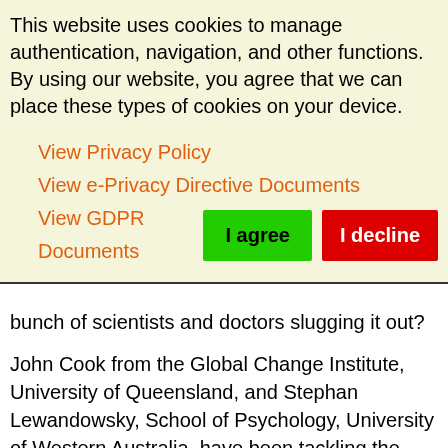This website uses cookies to manage authentication, navigation, and other functions. By using our website, you agree that we can place these types of cookies on your device.
View Privacy Policy
View e-Privacy Directive Documents
View GDPR Documents
bunch of scientists and doctors slugging it out?
John Cook from the Global Change Institute, University of Queensland, and Stephan Lewandowsky, School of Psychology, University of Western Australia, have been tackling the issue of debunking myths. They conclude that just dumping more of the evidence-base into the public's lap and hitting one myth about e-cigarettes with a barrage of counter-arguments